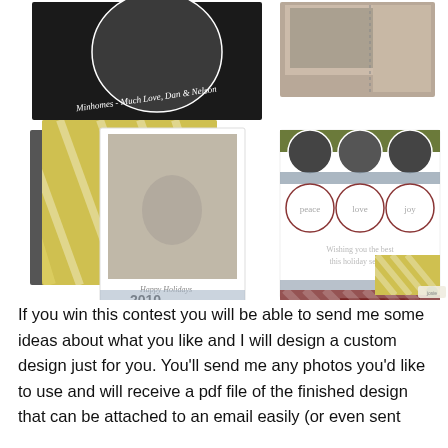[Figure (illustration): Collage of holiday greeting card designs: top-left shows a circular photo card with 'Much Love, Dan & Nelson' text on black background; top-right shows a photo card with dotted border on brown background; center-left shows a white card with baby photo, diagonal gold stripes background, text 'Happy Holidays 2010 The McAllister Family'; center shows cards with diagonal maroon/brown stripes; right side shows a card with three circular baby photos, 'peace love joy' text circles, and 'Wishing you the best this holiday season' text with diagonal stripe pattern at bottom.]
If you win this contest you will be able to send me some ideas about what you like and I will design a custom design just for you. You'll send me any photos you'd like to use and will receive a pdf file of the finished design that can be attached to an email easily (or even sent